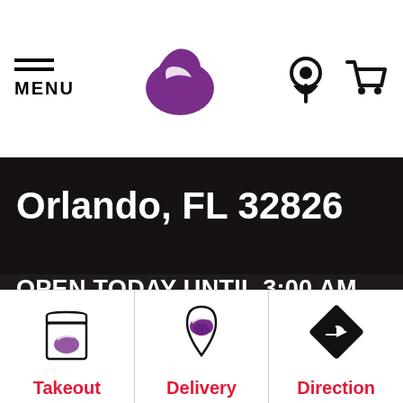[Figure (screenshot): Taco Bell website screenshot showing navigation bar with MENU, Taco Bell logo, location pin icon, and shopping cart icon at top. Below is a dark hero image of a Taco Bell parking lot with text 'Orlando, FL 32826' and 'OPEN TODAY UNTIL 3:00 AM'. Bottom section shows three columns: Takeout (bag icon), Delivery (map pin logo icon), Directions (turn arrow icon) with red labels.]